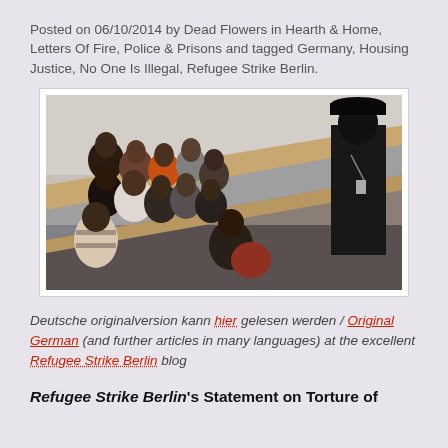Posted on 06/10/2014 by Dead Flowers in Hearth & Home, Letters Of Fire, Police & Prisons and tagged Germany, Housing Justice, No One Is Illegal, Refugee Strike Berlin.
[Figure (photo): Photo of a large group of people, mostly Black individuals, crowded on a staircase landing inside a building, with a person in dark clothing and cap visible on the right side facing them.]
Deutsche originalversion kann hier gelesen werden / Original German (and further articles in many languages) at the excellent Refugee Strike Berlin blog
Refugee Strike Berlin's Statement on Torture of